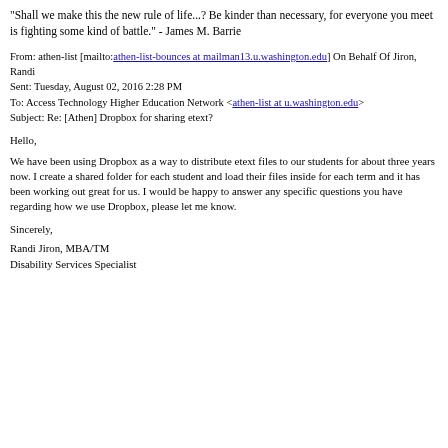"Shall we make this the new rule of life...? Be kinder than necessary, for everyone you meet is fighting some kind of battle." - James M. Barrie
From: athen-list [mailto:athen-list-bounces at mailman13.u.washington.edu] On Behalf Of Jiron, Randi
Sent: Tuesday, August 02, 2016 2:28 PM
To: Access Technology Higher Education Network <athen-list at u.washington.edu>
Subject: Re: [Athen] Dropbox for sharing etext?
Hello,
We have been using Dropbox as a way to distribute etext files to our students for about three years now. I create a shared folder for each student and load their files inside for each term and it has been working out great for us. I would be happy to answer any specific questions you have regarding how we use Dropbox, please let me know.
Sincerely,
Randi Jiron, MBA/TM
Disability Services Specialist